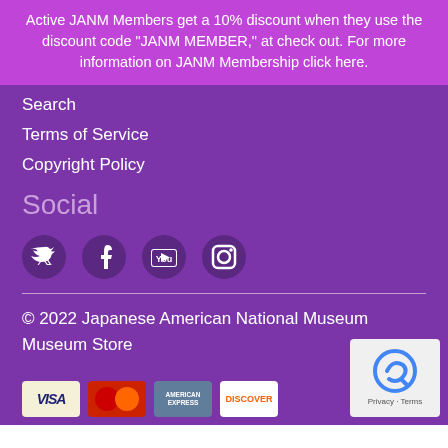Active JANM Members get a 10% discount when they use the discount code "JANM MEMBER," at check out. For more information on JANM Membership click here.
Search
Terms of Service
Copyright Policy
Social
[Figure (infographic): Four social media icons in dark circles: Twitter, Facebook, YouTube, Instagram]
© 2022 Japanese American National Museum Store
[Figure (infographic): Payment method icons: Visa, Mastercard, American Express, Discover. reCAPTCHA badge in bottom right.]